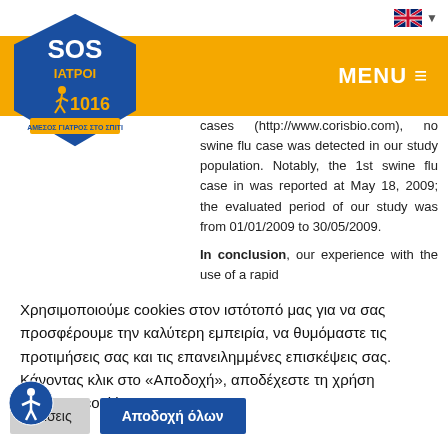[Figure (logo): SOS IATPOI 1016 logo - blue pentagon shape with runner figure and yellow text]
MENU
cases (http://www.corisbio.com), no swine flu case was detected in our study population. Notably, the 1st swine flu case in was reported at May 18, 2009; the evaluated period of our study was from 01/01/2009 to 30/05/2009.
In conclusion, our experience with the use of a rapid
Χρησιμοποιούμε cookies στον ιστότοπό μας για να σας προσφέρουμε την καλύτερη εμπειρία, να θυμόμαστε τις προτιμήσεις σας και τις επανειλημμένες επισκέψεις σας. Κάνοντας κλικ στο «Αποδοχή», αποδέχεστε τη χρήση όλωντων cookies.